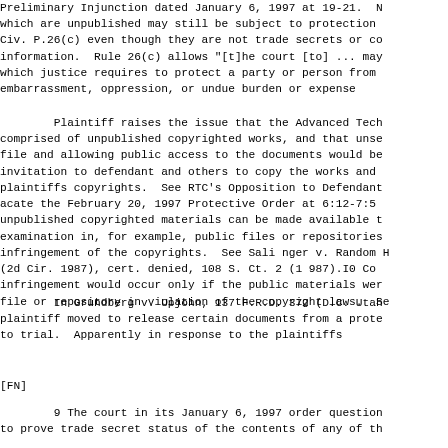Preliminary Injunction dated January 6, 1997 at 19-21.  N
which are unpublished may still be subject to protection
Civ. P.26(c) even though they are not trade secrets or co
information.  Rule 26(c) allows "[t]he court [to] ... may
which justice requires to protect a party or person from
embarrassment, oppression, or undue burden or expense
Plaintiff raises the issue that the Advanced Tech
comprised of unpublished copyrighted works, and that unse
file and allowing public access to the documents would be
invitation to defendant and others to copy the works and
plaintiffs copyrights.  See RTC's Opposition to Defendant
acate the February 20, 1997 Protective Order at 6:12-7:5
unpublished copyrighted materials can be made available t
examination in, for example, public files or repositories
infringement of the copyrights.  See Sali nger v. Random H
(2d Cir. 1987), cert. denied, 108 S. Ct. 2 (1 987).I0 Co
infringement would occur only if the public materials wer
file or repository in violation of the copyright laws.  Se
In Grundberg v. Upjohn, 137 F.R.D. 372 (D.C. Utah
plaintiff moved to release certain documents from a prote
to trial.  Apparently in response to the plaintiffs
[FN]
9 The court in its January 6, 1997 order question
to prove trade secret status of the contents of any of th